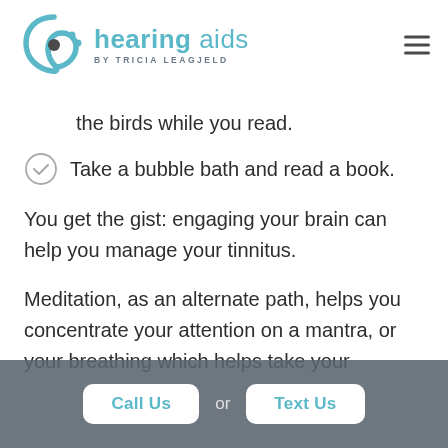[Figure (logo): Hearing aids by Tricia Leagjeld logo with teal swirl and dots icon]
the birds while you read.
Take a bubble bath and read a book.
You get the gist: engaging your brain can help you manage your tinnitus.
Meditation, as an alternate path, helps you concentrate your attention on a mantra, or your breathing which helps take your attention away from the tinnitus tone
Call Us  or  Text Us